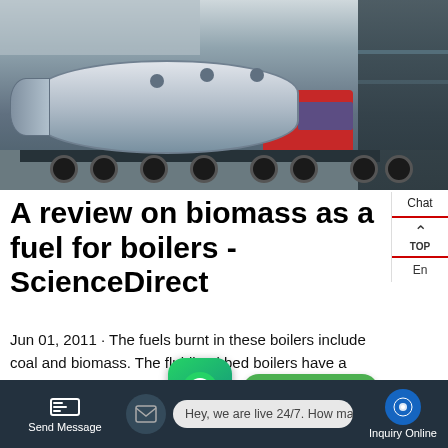[Figure (photo): Large industrial boiler on a flatbed truck/trailer in an industrial yard, with a red truck cab and metal shed in the background.]
A review on biomass as a fuel for boilers - ScienceDirect
Jun 01, 2011 · The fuels burnt in these boilers include coal and biomass. The fluidized bed boilers have a wide capacity range 0.5 T/h to over [range]. fluidized bed combustion boilers. There are three basic types of fluidized bed combustion boilers: a. Atmospheric
[Figure (other): WhatsApp contact button (green rounded square with phone icon)]
[Figure (other): Green 'Contact us now!' button]
Contact
Chat
TOP
En
Send Message
Hey, we are live 24/7. How may I help you?
Inquiry Online